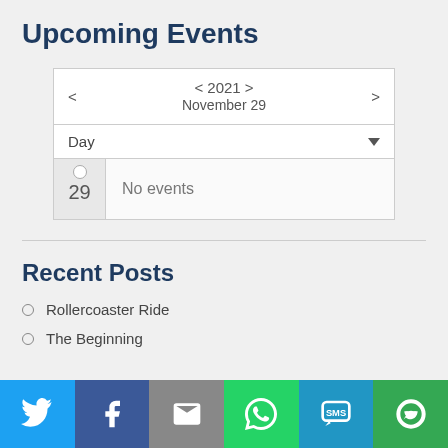Upcoming Events
[Figure (other): Calendar widget showing < 2021 > November 29, Day view, with date 29 and 'No events' message]
Recent Posts
Rollercoaster Ride
The Beginning
[Figure (other): Social sharing bar with Twitter, Facebook, Email, WhatsApp, SMS, and More buttons]